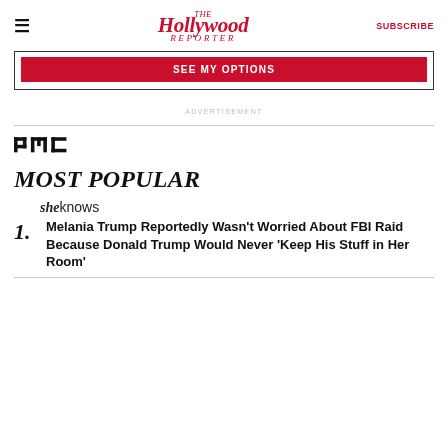The Hollywood Reporter | SUBSCRIBE
[Figure (screenshot): SEE MY OPTIONS red subscription button inside a bordered banner box]
ADVERTISEMENT
[Figure (logo): PMC logo]
MOST POPULAR
[Figure (logo): SheKnows logo]
1. Melania Trump Reportedly Wasn't Worried About FBI Raid Because Donald Trump Would Never 'Keep His Stuff in Her Room'